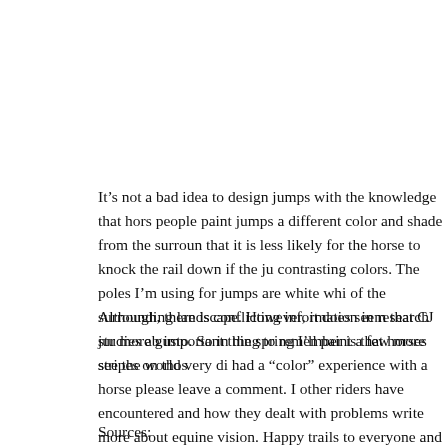“I had a horse that would ignore white lines on the road but had yellow ones,” Hall said. “Hence when I read that one study … ( tell the difference between yellow and white, I felt strongly that
It’s not a bad idea to design jumps with the knowledge that hors people paint jumps a different color and shade from the surroun that it is less likely for the horse to knock the rail down if the ju contrasting colors. The poles I’m using for jumps are white whi of the surrounding landscape. However, it does seem that CJ jur more gusto. So in the spring I’ll paint a few more stripes on thos
Although, there is conflicting information in research studies ab important thing to remember is that horses see the world very di had a “color” experience with a horse please leave a comment. I other riders have encountered and how they dealt with problems write more about equine vision. Happy trails to everyone and sta
Sources: